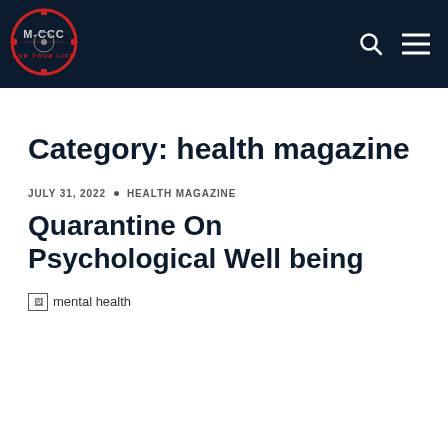[Figure (logo): M-CCC circular logo with red and dark navy design, text FOR YOUR LIFE at bottom]
M-CCC website header with logo, search icon, and menu icon
Category: health magazine
JULY 31, 2022 • HEALTH MAGAZINE
Quarantine On Psychological Well being
[Figure (photo): mental health (broken/loading image placeholder)]